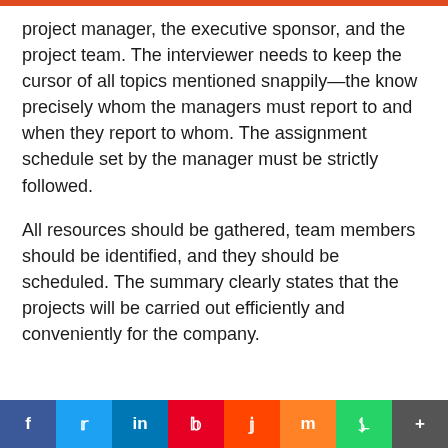project manager, the executive sponsor, and the project team. The interviewer needs to keep the cursor of all topics mentioned snappily—the know precisely whom the managers must report to and when they report to whom. The assignment schedule set by the manager must be strictly followed.
All resources should be gathered, team members should be identified, and they should be scheduled. The summary clearly states that the projects will be carried out efficiently and conveniently for the company.
f  t  in  P  r  m  [whatsapp]  +